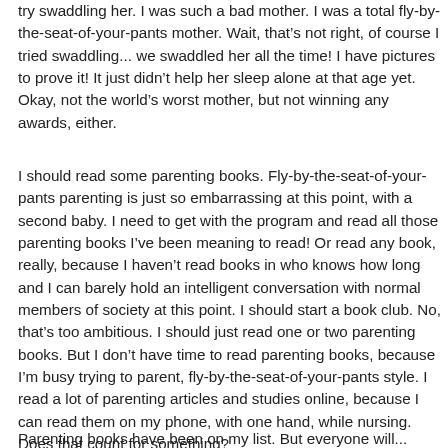try swaddling her. I was such a bad mother. I was a total fly-by-the-seat-of-your-pants mother. Wait, that's not right, of course I tried swaddling... we swaddled her all the time! I have pictures to prove it! It just didn't help her sleep alone at that age yet. Okay, not the world's worst mother, but not winning any awards, either.
I should read some parenting books. Fly-by-the-seat-of-your-pants parenting is just so embarrassing at this point, with a second baby. I need to get with the program and read all those parenting books I've been meaning to read! Or read any book, really, because I haven't read books in who knows how long and I can barely hold an intelligent conversation with normal members of society at this point. I should start a book club. No, that's too ambitious. I should just read one or two parenting books. But I don't have time to read parenting books, because I'm busy trying to parent, fly-by-the-seat-of-your-pants style. I read a lot of parenting articles and studies online, because I can read them on my phone, with one hand, while nursing. Does that count for something?
Parenting books have been on my list. But everyone will...